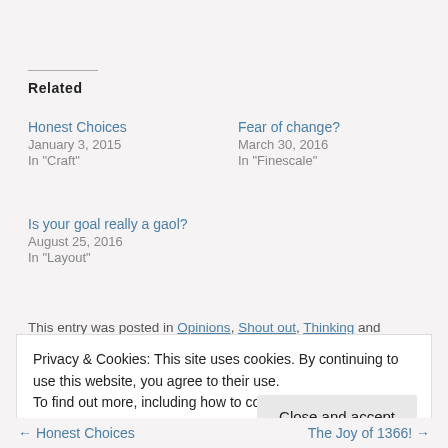Related
Honest Choices
January 3, 2015
In "Craft"
Fear of change?
March 30, 2016
In "Finescale"
Is your goal really a gaol?
August 25, 2016
In "Layout"
This entry was posted in Opinions, Shout out, Thinking and tagged
Privacy & Cookies: This site uses cookies. By continuing to use this website, you agree to their use.
To find out more, including how to control cookies, see here: Our Cookie Policy
Close and accept
← Honest Choices    The Joy of 1366! →